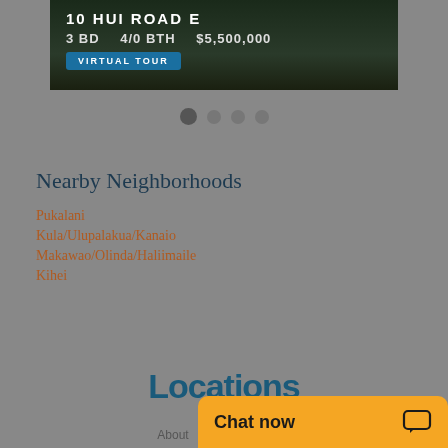[Figure (screenshot): Real estate listing card showing property at 10 HUI ROAD E with dark background, 3 BD, 4/0 BTH, $5,500,000 price and Virtual Tour button]
[Figure (infographic): Carousel pagination dots: 4 dots, first one active/darker]
Nearby Neighborhoods
Pukalani
Kula/Ulupalakua/Kanaio
Makawao/Olinda/Haliimaile
Kihei
[Figure (logo): Locations logo in dark teal/blue color]
About   Agents   L...
[Figure (screenshot): Orange Chat now overlay button with speech bubble icon in bottom right corner]